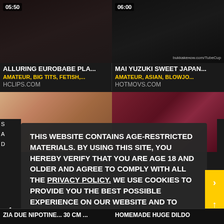[Figure (screenshot): Video thumbnail 1 with duration 05:50]
[Figure (screenshot): Video thumbnail 2 with duration 06:00 and watermark bukkakенow.com/TubeCup]
ALLURING EUROBABE PLA...
AMATEUR, BIG TITS, FETISH,...
HCLIPS.COM
MAI YUZUKI SWEET JAPAN...
AMATEUR, ASIAN, BLOWJO...
HOTMOVS.COM
[Figure (screenshot): Video thumbnail 3 - Indian content]
[Figure (screenshot): Video thumbnail 4 - Japanese content]
THIS WEBSITE CONTAINS AGE-RESTRICTED MATERIALS. BY USING THIS SITE, YOU HEREBY VERIFY THAT YOU ARE AGE 18 AND OLDER AND AGREE TO COMPLY WITH ALL THE PRIVACY POLICY. WE USE COOKIES TO PROVIDE YOU THE BEST POSSIBLE EXPERIENCE ON OUR WEBSITE AND TO MONITOR WEBSITE TRAFFIC. COOKIES POLICY.
ZIA DUE NIPOTINE... 30 CM ...
HOMEMADE HUGE DILDO